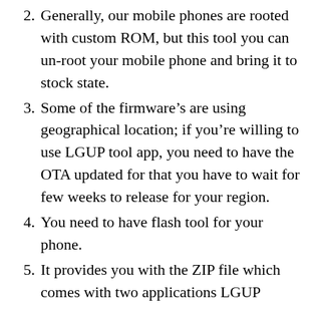2. Generally, our mobile phones are rooted with custom ROM, but this tool you can un-root your mobile phone and bring it to stock state.
3. Some of the firmware’s are using geographical location; if you’re willing to use LGUP tool app, you need to have the OTA updated for that you have to wait for few weeks to release for your region.
4. You need to have flash tool for your phone.
5. It provides you with the ZIP file which comes with two applications LGUP